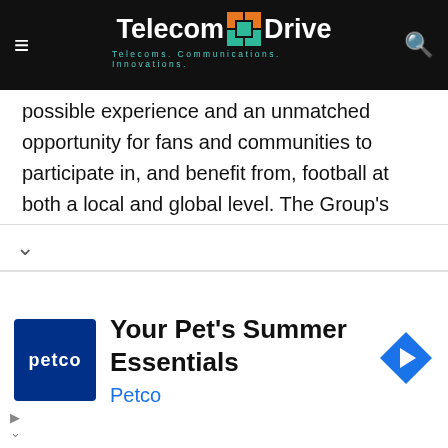Telecom Drive — Telecoms. Communications. Innovations.
possible experience and an unmatched opportunity for fans and communities to participate in, and benefit from, football at both a local and global level. The Group's support companies – Global Football and City Football Marketing – operate from a number of offices around the world in support of the Group's clubs, associate organisations and customer organisations.
Global Football shares footballing IP and “know-how” to recruit, develop, train and win. City Football Marketing creates media, marketing and fan engagement properties to support the commercial development of clubs and their
[Figure (logo): Petco advertisement banner: Petco logo on blue background, text 'Your Pet's Summer Essentials', subtext 'Petco' in blue, navigation arrow icon]